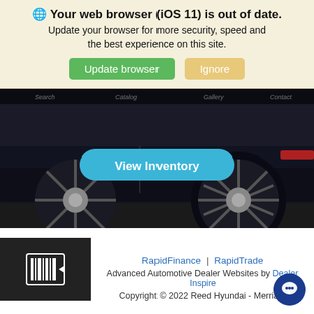🌐 Your web browser (iOS 11) is out of date. Update your browser for more security, speed and the best experience on this site.
Update browser | Ignore
[Figure (photo): Partial view of a dark SUV vehicle showing the lower body and wheel, photographed at low angle with grassy background. A blue 'View Inventory' button is overlaid in the center.]
RapidFinance | RapidTrade
Advanced Automotive Dealer Websites by Dealer Inspire
Copyright © 2022 Reed Hyundai - Merriam
[Figure (logo): Reed Hyundai dealer logo icon in white on black background]
[Figure (other): Blue circular chat/message button in lower right corner]